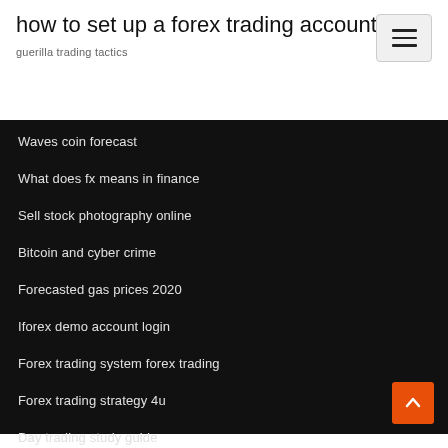how to set up a forex trading account
guerilla trading tactics
Waves coin forecast
What does fx means in finance
Sell stock photography online
Bitcoin and cyber crime
Forecasted gas prices 2020
Iforex demo account login
Forex trading system forex trading
Forex trading strategy 4u
Day trading study guide